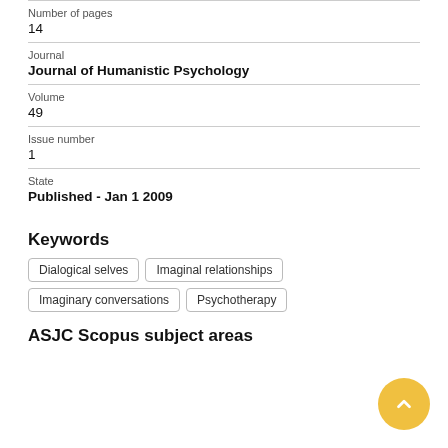Number of pages
14
Journal
Journal of Humanistic Psychology
Volume
49
Issue number
1
State
Published - Jan 1 2009
Keywords
Dialogical selves
Imaginal relationships
Imaginary conversations
Psychotherapy
ASJC Scopus subject areas